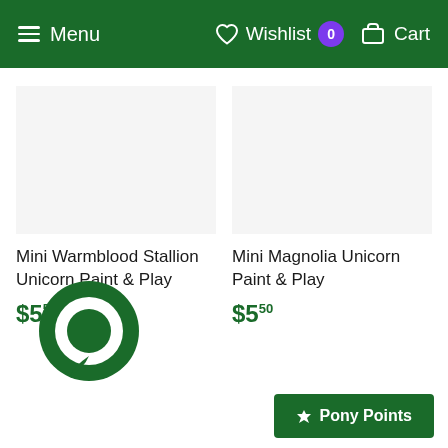Menu | Wishlist 0 | Cart
Mini Warmblood Stallion Unicorn Paint & Play
$5.50
Mini Magnolia Unicorn Paint & Play
$5.50
[Figure (illustration): Green circular chat bubble icon]
Pony Points